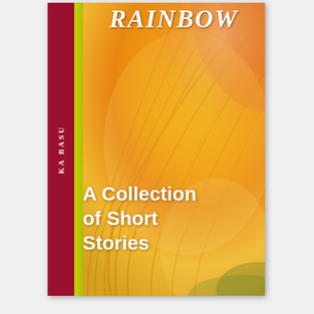[Figure (illustration): Book cover for 'RAINBOW: A Collection of Short Stories' by KA BASU. The cover features a close-up photograph of a large yellow-orange flower (likely a canna lily or similar) against a green background. A crimson/dark red vertical spine strip runs along the left side with the author name 'KA BASU' printed vertically in white. A yellow-green narrow strip borders the spine on the right. The book title 'RAINBOW' appears at the top in large white serif italic letters. The subtitle 'A Collection of Short Stories' appears in large bold white text in the lower portion of the cover.]